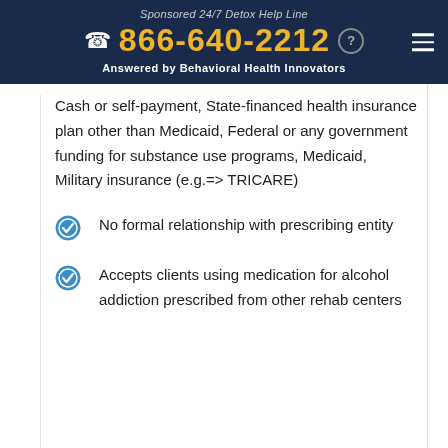Sponsored 24/7 Detox Help Line
866-640-2212
Answered by Behavioral Health Innovators
Cash or self-payment, State-financed health insurance plan other than Medicaid, Federal or any government funding for substance use programs, Medicaid, Military insurance (e.g.=> TRICARE)
No formal relationship with prescribing entity
Accepts clients using medication for alcohol addiction prescribed from other rehab centers